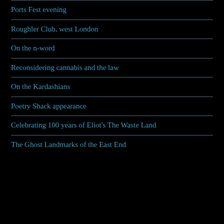Ports Fest evening
Roughler Club, west London
On the n-word
Reconsidering cannabis and the law
On the Kardashians
Poetry Shack appearance
Celebrating 100 years of Eliot's The Waste Land
The Ghost Landmarks of the East End